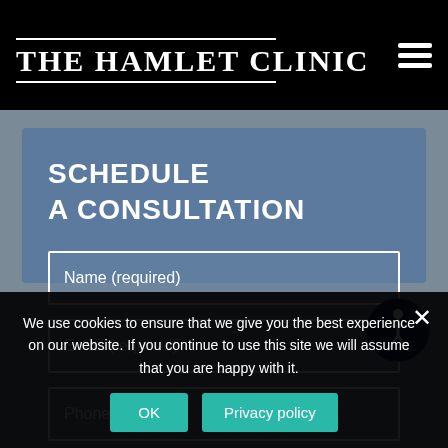THE HAMLET CLINIC
SCHEDULE
A CONSULTATION
Name (required)
Email (required)
Phone
[Figure (illustration): Accessibility icon - circular dark blue button with stylized person figure in white]
We use cookies to ensure that we give you the best experience on our website. If you continue to use this site we will assume that you are happy with it.
OK
Privacy policy